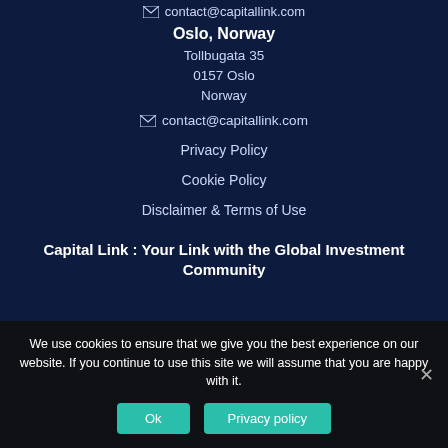contact@capitallink.com
Oslo, Norway
Tollbugata 35
0157 Oslo
Norway
contact@capitallink.com
Privacy Policy
Cookie Policy
Disclaimer & Terms of Use
Capital Link : Your Link with the Global Investment Community
We use cookies to ensure that we give you the best experience on our website. If you continue to use this site we will assume that you are happy with it.